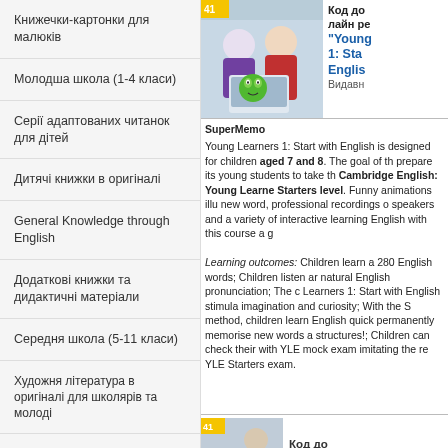Книжечки-картонки для малюків
Молодша школа (1-4 класи)
Серії адаптованих читанок для дітей
Дитячі книжки в оригіналі
General Knowledge through English
Додаткові книжки та дидактичні матеріали
Середня школа (5-11 класи)
Художня література в оригіналі для школярів та молоді
[Figure (photo): Two children looking at a screen with a cartoon frog character]
Код до онлайн ре... "Young Learners 1: Start with English" Видавн...
SuperMemo
Young Learners 1: Start with English is designed for children aged 7 and 8. The goal of the course is to prepare its young students to take the exam at the Cambridge English: Young Learners (YLE) Starters level. Funny animations illustrate each new word, professional recordings of native speakers and a variety of interactive exercises make learning English with this course a great adventure.

Learning outcomes: Children learn approximately 280 English words; Children listen and acquire natural English pronunciation; The course Young Learners 1: Start with English stimulates children's imagination and curiosity; With the SuperMemo method, children learn English quickly and permanently memorise new words and grammar structures!; Children can check their knowledge with YLE mock exam imitating the real Cambridge YLE Starters exam.
[Figure (photo): Bottom thumbnail image of a child]